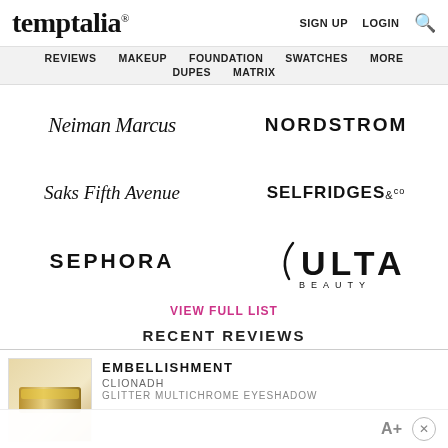temptalia® | SIGN UP  LOGIN  🔍
REVIEWS  MAKEUP  FOUNDATION  SWATCHES  MORE  DUPES  MATRIX
[Figure (logo): Neiman Marcus script logo]
[Figure (logo): NORDSTROM wordmark in bold sans-serif]
[Figure (logo): Saks Fifth Avenue script logo]
[Figure (logo): SELFRIDGES & CO wordmark]
[Figure (logo): SEPHORA wordmark in bold sans-serif uppercase]
[Figure (logo): ULTA BEAUTY logo with swoosh arc]
VIEW FULL LIST
RECENT REVIEWS
[Figure (photo): Thumbnail of a gold glitter eyeshadow pan]
EMBELLISHMENT
CLIONADH
GLITTER MULTICHROME EYESHADOW